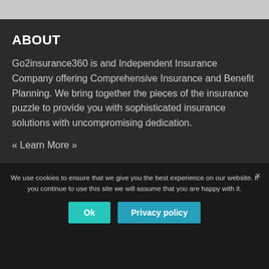ABOUT
Go2insurance360 is and Independent Insurance Company offering Comprehensive Insurance and Benefit Planning. We bring together the pieces of the insurance puzzle to provide you with sophisticated insurance solutions with uncompromising dedication.
« Learn More »
CONTACT
[Figure (logo): Go2insurance360 logo with teal arrow]
We use cookies to ensure that we give you the best experience on our website. If you continue to use this site we will assume that you are happy with it.
Ok   Privacy policy